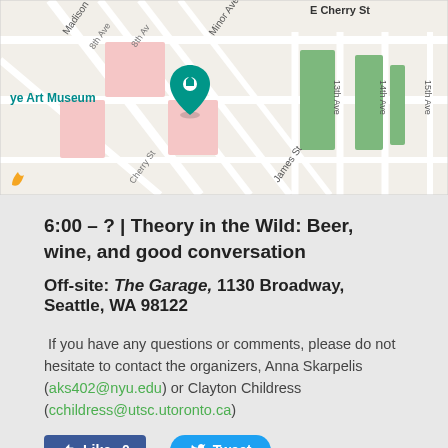[Figure (map): Street map showing area around E Cherry St, Seattle with 13th Ave, 14th Ave, 15th Ave, Madison St, James St, Minor Ave. A teal map pin marks the Frye Art Museum location. Green building footprints visible.]
6:00 – ? | Theory in the Wild: Beer, wine, and good conversation
Off-site: The Garage, 1130 Broadway, Seattle, WA 98122
If you have any questions or comments, please do not hesitate to contact the organizers, Anna Skarpelis (aks402@nyu.edu) or Clayton Childress (cchildress@utsc.utoronto.ca)
Like 0   Tweet
2 Comments
kodi   12/9/2021 02:34:25 am